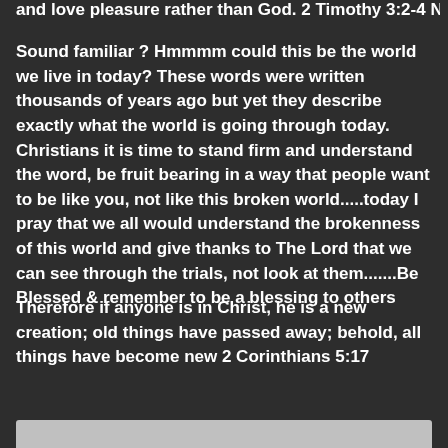and love pleasure rather than God. 2 Timothy 3:2-4 NLT
Sound familiar ? Hmmmm could this be the world we live in today? These words were written thousands of years ago but yet they describe exactly what the world is going through today. Christians it is time to stand firm and understand the word, be fruit bearing in a way that people want to be like you, not like this broken world.....today I pray that we all would understand the brokenness of this world and give thanks to The Lord that we can see through the trials, not look at them.......Be Blessed & remember to be a blessing to others
Therefore if anyone is in Christ, he is a new creation; old things have passed away; behold, all things have become new 2 Corinthians 5:17